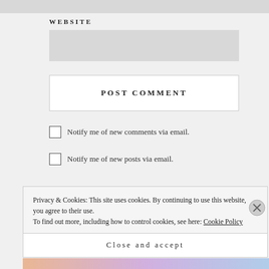WEBSITE
POST COMMENT
Notify me of new comments via email.
Notify me of new posts via email.
Privacy & Cookies: This site uses cookies. By continuing to use this website, you agree to their use.
To find out more, including how to control cookies, see here: Cookie Policy
Close and accept